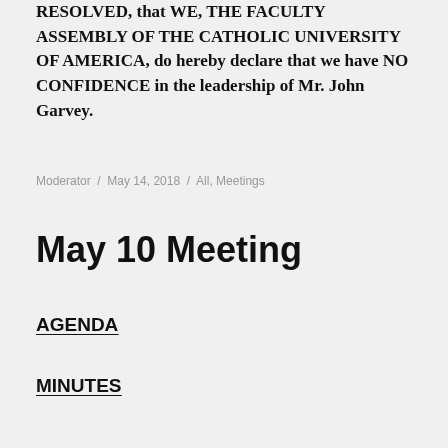RESOLVED, that WE, THE FACULTY ASSEMBLY OF THE CATHOLIC UNIVERSITY OF AMERICA, do hereby declare that we have NO CONFIDENCE in the leadership of Mr. John Garvey.
Moderator / May 14, 2018 / All, Meetings
May 10 Meeting
AGENDA
MINUTES